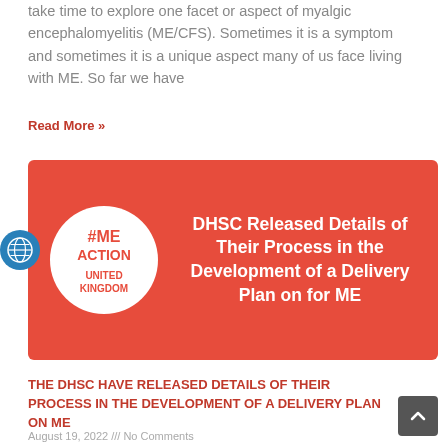take time to explore one facet or aspect of myalgic encephalomyelitis (ME/CFS). Sometimes it is a symptom and sometimes it is a unique aspect many of us face living with ME. So far we have
Read More »
[Figure (illustration): Red banner card featuring the #ME Action United Kingdom circular logo on the left and white bold text on the right reading: DHSC Released Details of Their Process in the Development of a Delivery Plan on for ME]
THE DHSC HAVE RELEASED DETAILS OF THEIR PROCESS IN THE DEVELOPMENT OF A DELIVERY PLAN ON ME
August 19, 2022 /// No Comments